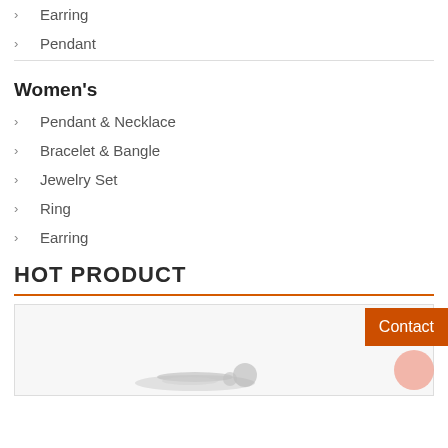Earring
Pendant
Women's
Pendant & Necklace
Bracelet & Bangle
Jewelry Set
Ring
Earring
HOT PRODUCT
[Figure (photo): Product image area showing jewelry items at the bottom, with a Contact button overlay on the right side]